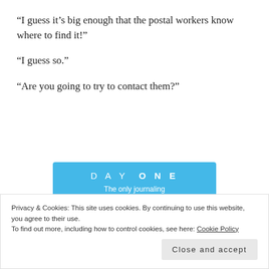“I guess it’s big enough that the postal workers know where to find it!”
“I guess so.”
“Are you going to try to contact them?”
[Figure (other): Advertisement for DAY ONE journaling app with blue background, sparkle dots, and a 'Get the app' button]
Privacy & Cookies: This site uses cookies. By continuing to use this website, you agree to their use.
To find out more, including how to control cookies, see here: Cookie Policy
Close and accept